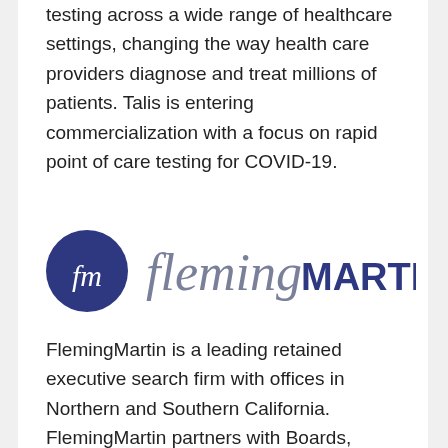testing across a wide range of healthcare settings, changing the way health care providers diagnose and treat millions of patients. Talis is entering commercialization with a focus on rapid point of care testing for COVID-19.
[Figure (logo): FlemingMartin logo: dark blue circle with italic 'fm' in white, followed by the word 'fleming' in italic gray script and 'MARTIN' in uppercase dark blue sans-serif.]
FlemingMartin is a leading retained executive search firm with offices in Northern and Southern California. FlemingMartin partners with Boards, Private Equity Firms and CEOs of companies to build successful execution-focused management teams.